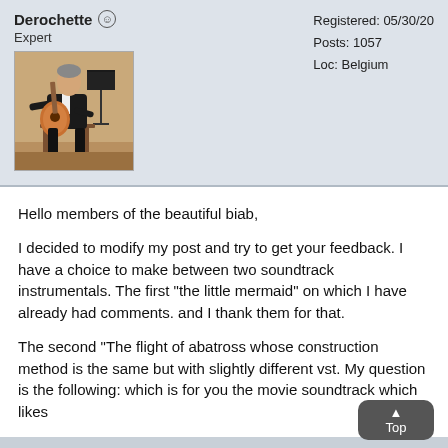Derochette ☺
Expert
[Figure (photo): Profile photo of a man playing classical guitar, seated, in formal black attire, with a music stand visible]
Registered: 05/30/20
Posts: 1057
Loc: Belgium
Hello members of the beautiful biab,
I decided to modify my post and try to get your feedback. I have a choice to make between two soundtrack instrumentals. The first "the little mermaid" on which I have already had comments. and I thank them for that.
The second "The flight of abatross whose construction method is the same but with slightly different vst. My question is the following: which is for you the movie soundtrack which likes